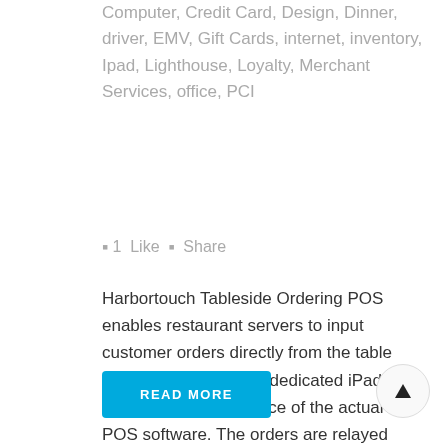Computer, Credit Card, Design, Dinner, driver, EMV, Gift Cards, internet, inventory, Ipad, Lighthouse, Loyalty, Merchant Services, office, PCI
▪ 1  Like  ▪  Share
Harbortouch Tableside Ordering POS enables restaurant servers to input customer orders directly from the table via an Apple iPad®. A dedicated iPad® app mirrors the interface of the actual POS software. The orders are relayed directly to the kitchen or bar for a dramatic increase...
READ MORE